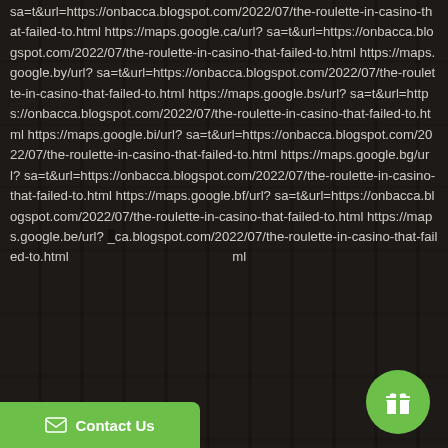sa=t&url=https://onbacca.blogspot.com/2022/07/the-roulette-in-casino-that-failed-to.html https://maps.google.ca/url?sa=t&url=https://onbacca.blogspot.com/2022/07/the-roulette-in-casino-that-failed-to.html https://maps.google.by/url?sa=t&url=https://onbacca.blogspot.com/2022/07/the-roulette-in-casino-that-failed-to.html https://maps.google.bs/url?sa=t&url=https://onbacca.blogspot.com/2022/07/the-roulette-in-casino-that-failed-to.html https://maps.google.bi/url?sa=t&url=https://onbacca.blogspot.com/2022/07/the-roulette-in-casino-that-failed-to.html https://maps.google.bg/url?sa=t&url=https://onbacca.blogspot.com/2022/07/the-roulette-in-casino-that-failed-to.html https://maps.google.bf/url?sa=t&url=https://onbacca.blogspot.com/2022/07/the-roulette-in-casino-that-failed-to.html https://maps.google.be/url?sa=t&url=https://onbacca.blogspot.com/2022/07/the-roulette-in-casino-that-failed-to.html
[Figure (illustration): Green circular gift/bonus button with white gift box icon, bottom right corner]
[Figure (illustration): Green Contact Us button bar with envelope icon, bottom left corner]